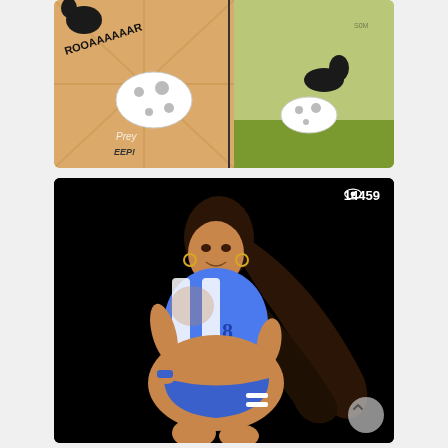[Figure (illustration): Two-panel comic illustration. Left panel shows animated animal characters with roaring sound effect text 'ROOAAAAAAR' and 'EEP!' on an orange/tan background. Right panel shows similar characters on a green background with grass.]
[Figure (illustration): Digital illustration of an animated female character with long dark hair, wearing a blue and white striped sports jersey and blue bikini bottom, posed against a black background. View count badge reads 14459.]